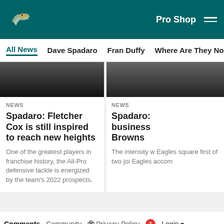Philadelphia Eagles - Pro Shop
All News | Dave Spadaro | Fran Duffy | Where Are They Now? | Pu...
[Figure (screenshot): Partially visible sports article hero image (dark/blurred person)]
NEWS
Spadaro: Fletcher Cox is still inspired to reach new heights
One of the greatest players in franchise history, the All-Pro defensive tackle is energized by the team's 2022 prospects.
[Figure (screenshot): Partially visible sports article hero image (right card, dark/blurred)]
NEWS
Spadaro: business Browns
The intensity w Eagles square first of two joi Eagles accom
Comments  Community  Privacy Policy  1  Login
[Figure (infographic): Social media icons row: Facebook, Twitter, Email, Link]